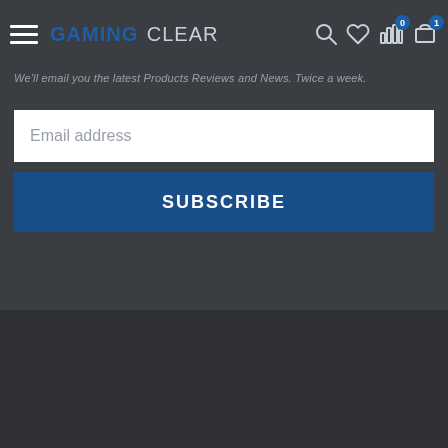GAMING Clear
We'll email you the latest Products Reviews and News. Twice a week.
Email address
SUBSCRIBE